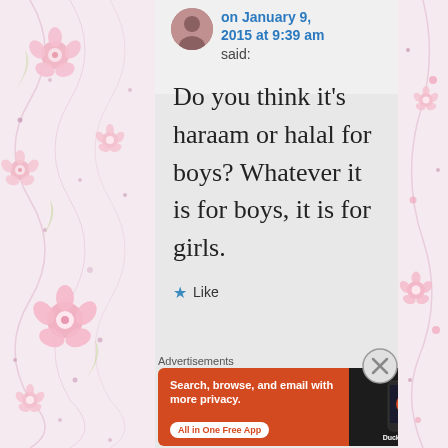[Figure (illustration): Floral decorative border on the left side of the page with pink flowers and scrollwork on a light pinkish-cream background]
on January 9, 2015 at 9:39 am said:
Do you think it’s haraam or halal for boys? Whatever it is for boys, it is for girls.
Like
Advertisements
[Figure (screenshot): DuckDuckGo advertisement banner with orange background. Text reads: Search, browse, and email with more privacy. All in One Free App. Shows a dark phone with the DuckDuckGo logo and branding.]
[Figure (illustration): Floral decorative border on the right side of the page]